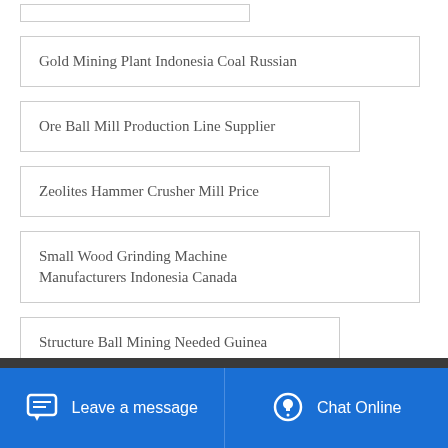Gold Mining Plant Indonesia Coal Russian
Ore Ball Mill Production Line Supplier
Zeolites Hammer Crusher Mill Price
Small Wood Grinding Machine Manufacturers Indonesia Canada
Structure Ball Mining Needed Guinea
Leave a message  Chat Online